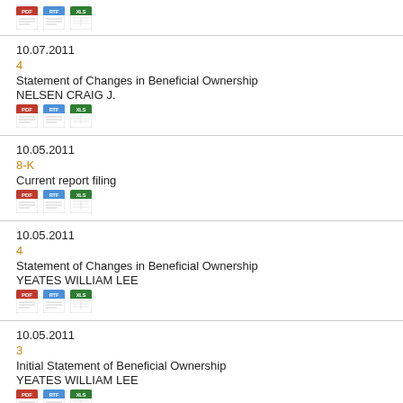10.07.2011 | 4 | Statement of Changes in Beneficial Ownership | NELSEN CRAIG J.
10.05.2011 | 8-K | Current report filing
10.05.2011 | 4 | Statement of Changes in Beneficial Ownership | YEATES WILLIAM LEE
10.05.2011 | 3 | Initial Statement of Beneficial Ownership | YEATES WILLIAM LEE
10.04.2011